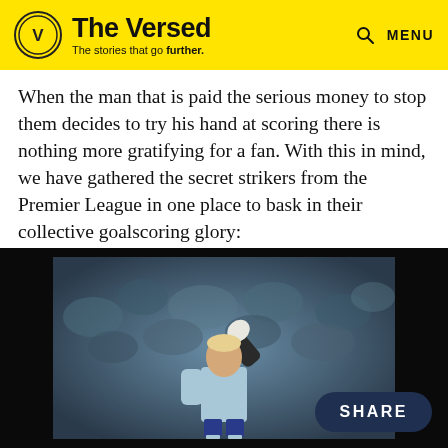The Versed – The stories that go further. [Search] MENU
When the man that is paid the serious money to stop them decides to try his hand at scoring there is nothing more gratifying for a fan. With this in mind, we have gathered the secret strikers from the Premier League in one place to bask in their collective goalscoring glory:
[Figure (photo): A goalkeeper wearing a light blue goalkeeper kit raises one gloved hand in the air, photographed against a blurred crowd background. The photo is displayed inside a black-bordered frame.]